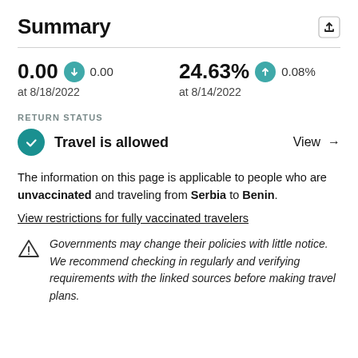Summary
0.00  ↓ 0.00  at 8/18/2022
24.63%  ↑ 0.08%  at 8/14/2022
RETURN STATUS
Travel is allowed   View →
The information on this page is applicable to people who are unvaccinated and traveling from Serbia to Benin.
View restrictions for fully vaccinated travelers
Governments may change their policies with little notice. We recommend checking in regularly and verifying requirements with the linked sources before making travel plans.